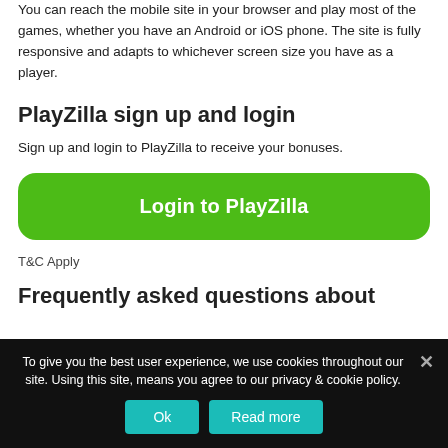You can reach the mobile site in your browser and play most of the games, whether you have an Android or iOS phone. The site is fully responsive and adapts to whichever screen size you have as a player.
PlayZilla sign up and login
Sign up and login to PlayZilla to receive your bonuses.
[Figure (other): Green rounded button labeled 'Login to PlayZilla']
T&C Apply
Frequently asked questions about
To give you the best user experience, we use cookies throughout our site. Using this site, means you agree to our privacy & cookie policy.
[Figure (other): Cookie consent bar with 'Ok' and 'Read more' teal buttons and close icon]